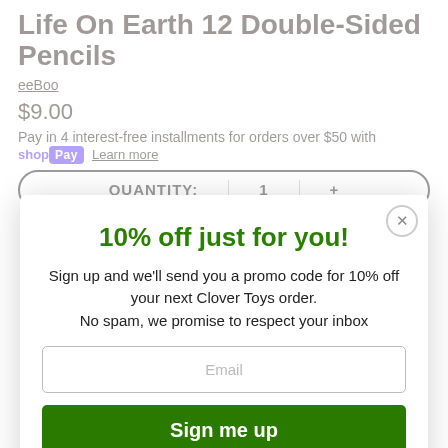Life On Earth 12 Double-Sided Pencils
eeBoo
$9.00
Pay in 4 interest-free installments for orders over $50 with
shopPay  Learn more
QUANTITY:  1  +
10% off just for you!
Sign up and we'll send you a promo code for 10% off your next Clover Toys order.
No spam, we promise to respect your inbox
Email
Sign me up